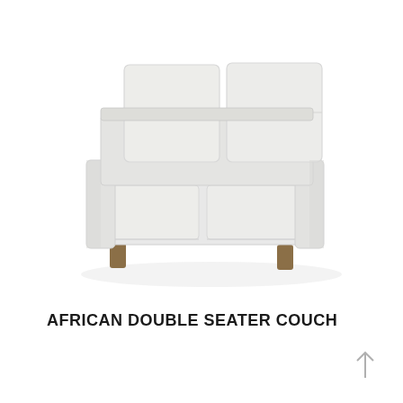[Figure (photo): A white double seater couch (sofa) with two back cushions and wooden legs, photographed from a slight angle against a white background.]
AFRICAN DOUBLE SEATER COUCH